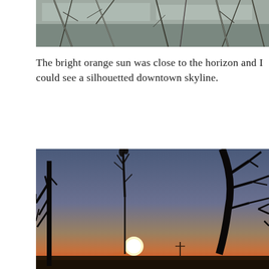[Figure (photo): Partial photograph showing bare winter tree branches with ice or frost, cropped at top of page]
The bright orange sun was close to the horizon and I could see a silhouetted downtown skyline.
[Figure (photo): Photograph of a sunset with a bright glowing sun low on the horizon, silhouetted bare tree branches in the foreground against a blue-to-orange gradient sky]